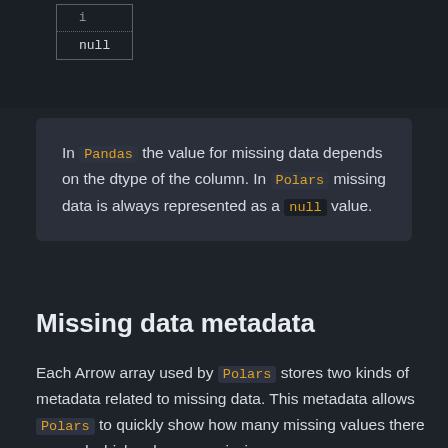[Figure (table-as-image): A partial table snippet showing a column with a dotted border separator and a 'null' value cell, on dark background.]
In Pandas the value for missing data depends on the dtype of the column. In Polars missing data is always represented as a null value.
Missing data metadata
Each Arrow array used by Polars stores two kinds of metadata related to missing data. This metadata allows Polars to quickly show how many missing values there are and which values are missing.